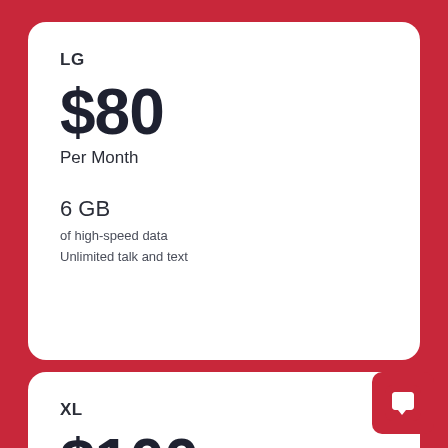LG
$80
Per Month
6 GB
of high-speed data
Unlimited talk and text
XL
$100
Per Month